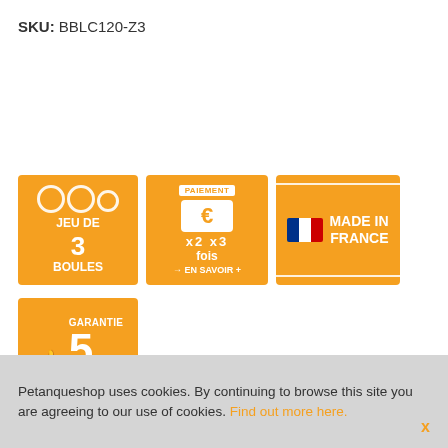SKU: BBLC120-Z3
[Figure (infographic): Three orange badges: (1) JEU DE 3 BOULES with circle icons, (2) PAIEMENT x2 x3 fois EN SAVOIR + with euro symbol, (3) MADE IN FRANCE with French flag]
[Figure (infographic): Orange badge: GARANTIE 5 ANS with thumbs-up icon]
Shipment within 2 to 4 weeks excluding manufacturer's holidays.
€145,00
Petanqueshop uses cookies. By continuing to browse this site you are agreeing to our use of cookies. Find out more here.